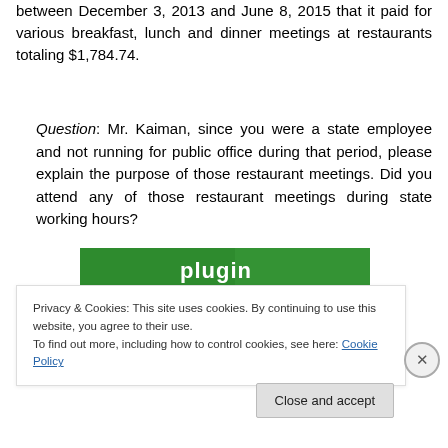between December 3, 2013 and June 8, 2015 that it paid for various breakfast, lunch and dinner meetings at restaurants totaling $1,784.74.
Question: Mr. Kaiman, since you were a state employee and not running for public office during that period, please explain the purpose of those restaurant meetings. Did you attend any of those restaurant meetings during state working hours?
[Figure (other): Green plugin banner graphic]
Privacy & Cookies: This site uses cookies. By continuing to use this website, you agree to their use.
To find out more, including how to control cookies, see here: Cookie Policy
Close and accept